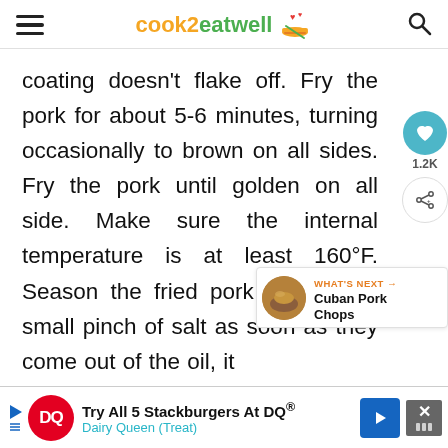cook2eatwell
coating doesn't flake off. Fry the pork for about 5-6 minutes, turning occasionally to brown on all sides. Fry the pork until golden on all side. Make sure the internal temperature is at least 160°F. Season the fried pork with just a small pinch of salt as soon as they come out of the oil, it Repeat with the remaining pork
[Figure (other): What's Next thumbnail showing Cuban Pork Chops dish]
[Figure (other): Dairy Queen advertisement banner: Try All 5 Stackburgers At DQ® Dairy Queen (Treat)]